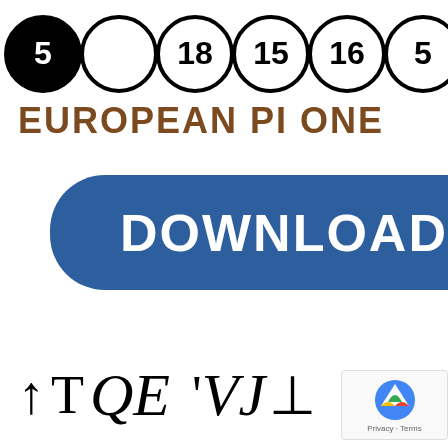[Figure (illustration): Row of circled numbers: filled black circle with 5, empty circle, circled 18, circled 15, circled 16, circled 5, circled 1, circled 14 (partially cut off)]
EUROPEAN PI ONE
[Figure (illustration): Blue rounded pill-shaped download button with white bold text reading DOWNLOAD, partially cut off on the right]
[Figure (illustration): Row of serif italic and upright mathematical/typographic symbols: up arrow, T, Q, E (italic), apostrophe, V, J (italic), perpendicular symbol, with reCAPTCHA badge in bottom right corner]